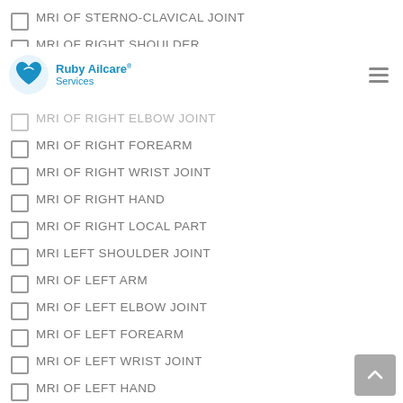MRI OF STERNO-CLAVICAL JOINT
MRI OF RIGHT SHOULDER
Ruby Ailcare Services
MRI OF RIGHT ELBOW JOINT
MRI OF RIGHT FOREARM
MRI OF RIGHT WRIST JOINT
MRI OF RIGHT HAND
MRI OF RIGHT LOCAL PART
MRI LEFT SHOULDER JOINT
MRI OF LEFT ARM
MRI OF LEFT ELBOW JOINT
MRI OF LEFT FOREARM
MRI OF LEFT WRIST JOINT
MRI OF LEFT HAND
MRI OF HEART /CARDIAC
MRI OF DORSAL SPINE
MRI OF DORSAL SPINE & WSS
MRI OF DORSO-LUMBAR SPINE